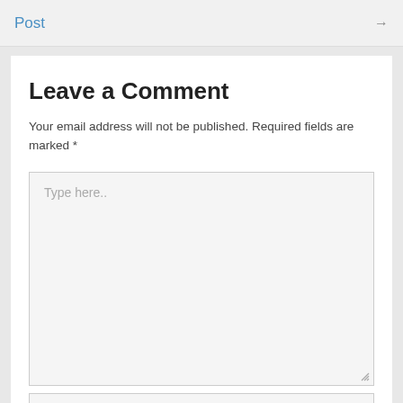Post →
Leave a Comment
Your email address will not be published. Required fields are marked *
[Figure (screenshot): A text area input box with placeholder text 'Type here..' and a resize handle in the bottom-right corner]